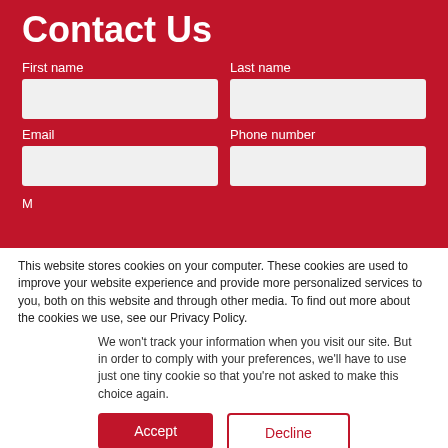Contact Us
First name
Last name
Email
Phone number
This website stores cookies on your computer. These cookies are used to improve your website experience and provide more personalized services to you, both on this website and through other media. To find out more about the cookies we use, see our Privacy Policy.
We won't track your information when you visit our site. But in order to comply with your preferences, we'll have to use just one tiny cookie so that you're not asked to make this choice again.
Accept
Decline